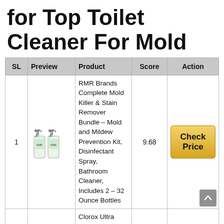for Top Toilet Cleaner For Mold
| SL | Preview | Product | Score | Action |
| --- | --- | --- | --- | --- |
| 1 | [product image] | RMR Brands Complete Mold Killer & Stain Remover Bundle – Mold and Mildew Prevention Kit, Disinfectant Spray, Bathroom Cleaner, Includes 2 – 32 Ounce Bottles | 9.68 | Check Price |
|  |  | Clorox Ultra Clean Toile... |  |  |